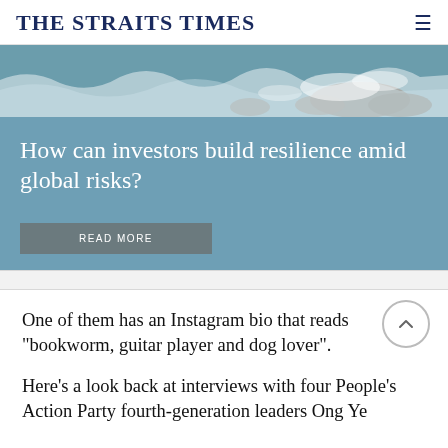THE STRAITS TIMES
[Figure (photo): Ocean waves crashing over rocks — banner image for article about investor resilience amid global risks]
How can investors build resilience amid global risks?
READ MORE
One of them has an Instagram bio that reads "bookworm, guitar player and dog lover".
Here's a look back at interviews with four People's Action Party fourth-generation leaders Ong Ye